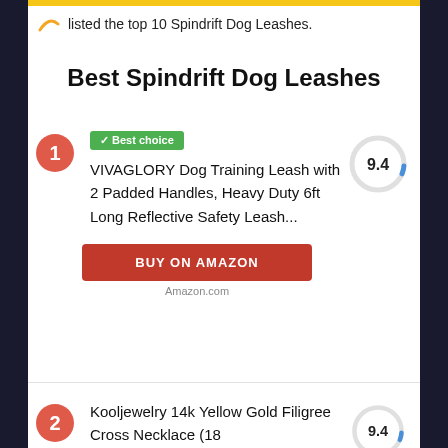listed the top 10 Spindrift Dog Leashes.
Best Spindrift Dog Leashes
1. VIVAGLORY Dog Training Leash with 2 Padded Handles, Heavy Duty 6ft Long Reflective Safety Leash... Score: 9.4 Best choice
BUY ON AMAZON
Amazon.com
2. Kooljewelry 14k Yellow Gold Filigree Cross Necklace (18 Score: 9.4